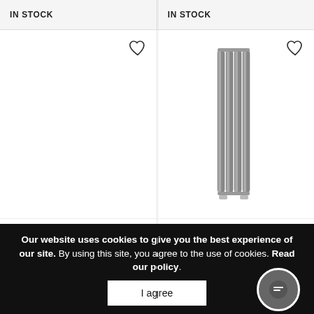IN STOCK
IN STOCK
[Figure (photo): Empty product card area for Milano Aruba Light Grey radiator with heart/wishlist icon]
[Figure (photo): Anthracite vertical double panel radiator product image with heart/wishlist icon]
Milano Aruba – Light Grey Vertical Designer Radiator 1780mm x 236mm (Double Panel)
Milano Aruba Flow – Anthracite Vertical Double Panel Middle Connection Designer Radiator
Our website uses cookies to give you the best experience of our site. By using this site, you agree to the use of cookies. Read our policy.
I agree